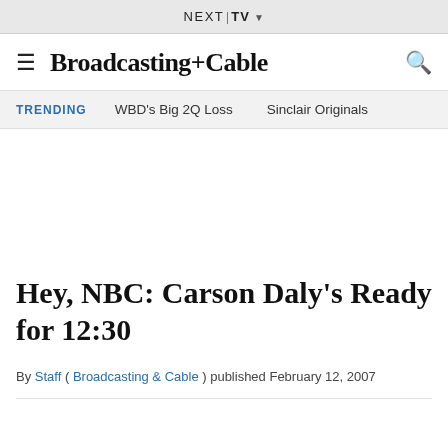NEXT | TV ▼
Broadcasting+Cable
TRENDING   WBD's Big 2Q Loss   Sinclair Originals
Hey, NBC: Carson Daly's Ready for 12:30
By Staff ( Broadcasting & Cable ) published February 12, 2007